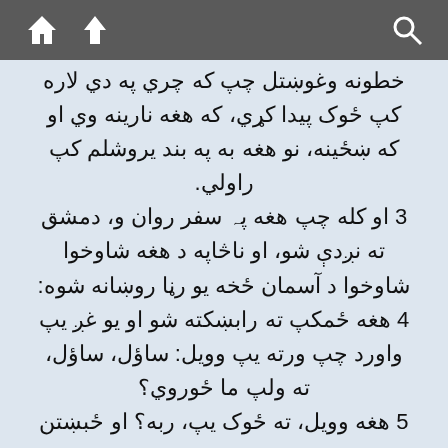Navigation toolbar with home, up, and search icons
خطونه وغوښتل چپ که چري په دي لاره کپ ځوک پيدا کړي، که هغه نارينه وي او که ښځينه، نو هغه به په بند يروشلم کپ راولي.
3 او کله چپ هغه پہ سفر روان و، دمشق ته نږدې شو، او ناڅاپه د هغه شاوخوا شاوخوا د آسمان ځخه يو رڼا روښانه شوه:
4 هغه ځمکپ ته رابښکته شو او يو غږ يپ واورد چپ ورته يپ وويل: ساؤل، ساؤل، ته ولپ ما ځوروي؟
5 هغه وويل، ته ځوک يپ، ربه؟ او ځبښتن